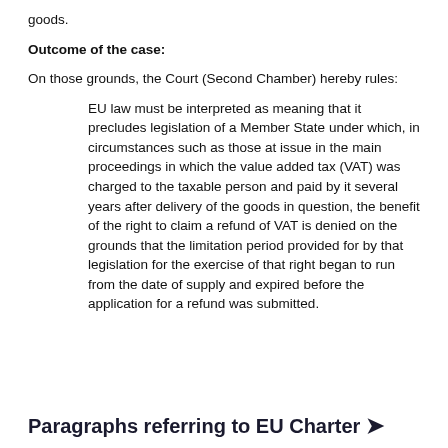goods.
Outcome of the case:
On those grounds, the Court (Second Chamber) hereby rules:
EU law must be interpreted as meaning that it precludes legislation of a Member State under which, in circumstances such as those at issue in the main proceedings in which the value added tax (VAT) was charged to the taxable person and paid by it several years after delivery of the goods in question, the benefit of the right to claim a refund of VAT is denied on the grounds that the limitation period provided for by that legislation for the exercise of that right began to run from the date of supply and expired before the application for a refund was submitted.
Paragraphs referring to EU Charter →